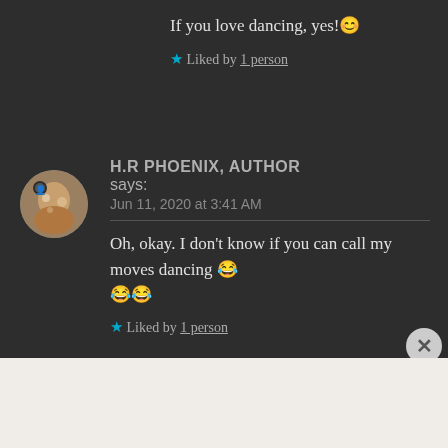If you love dancing, yes! 😊
★ Liked by 1 person
H.R PHOENIX, AUTHOR says: Jun 11, 2020 at 3:41 AM
Oh, okay. I don't know if you can call my moves dancing 😂😂😂
★ Liked by 1 person
Advertisements
Professionally designed sites in less than a week